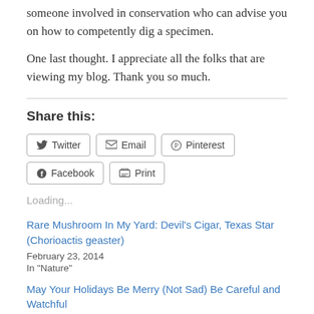someone involved in conservation who can advise you on how to competently dig a specimen.
One last thought. I appreciate all the folks that are viewing my blog. Thank you so much.
Share this:
Loading...
Rare Mushroom In My Yard: Devil's Cigar, Texas Star (Chorioactis geaster)
February 23, 2014
In "Nature"
May Your Holidays Be Merry (Not Sad) Be Careful and Watchful